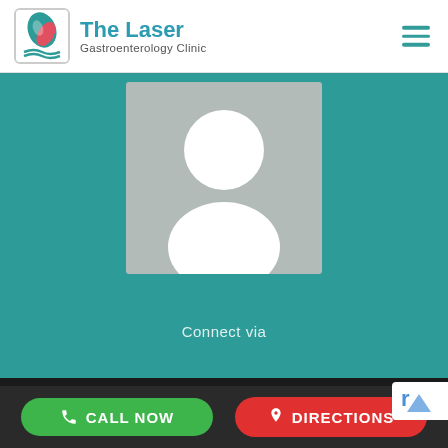[Figure (logo): The Laser Gastroenterology Clinic logo with teal leaf/flame icon and teal text]
The Laser
Gastroenterology Clinic
[Figure (photo): Generic placeholder avatar silhouette (white person icon on gray background) on teal background]
Connect via
CALL NOW
DIRECTIONS